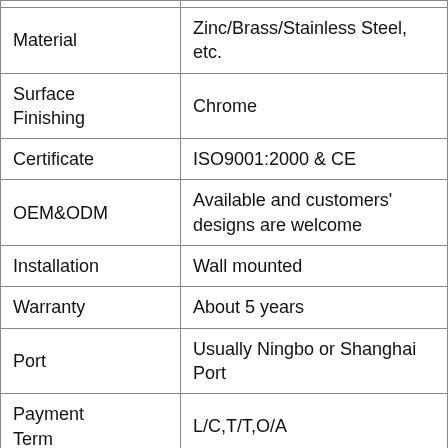| Material | Zinc/Brass/Stainless Steel, etc. |
| Surface Finishing | Chrome |
| Certificate | ISO9001:2000 & CE |
| OEM&ODM | Available and customers' designs are welcome |
| Installation | Wall mounted |
| Warranty | About 5 years |
| Port | Usually Ningbo or Shanghai Port |
| Payment Term | L/C,T/T,O/A |
| MOQ | 300PCS |
| Delivery Time | 25-30 days after PI confirmed and the |